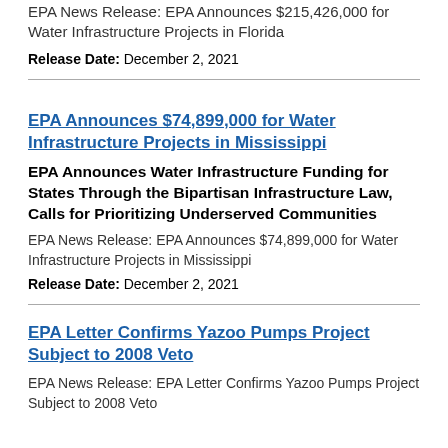EPA News Release: EPA Announces $215,426,000 for Water Infrastructure Projects in Florida
Release Date: December 2, 2021
EPA Announces $74,899,000 for Water Infrastructure Projects in Mississippi
EPA Announces Water Infrastructure Funding for States Through the Bipartisan Infrastructure Law, Calls for Prioritizing Underserved Communities
EPA News Release: EPA Announces $74,899,000 for Water Infrastructure Projects in Mississippi
Release Date: December 2, 2021
EPA Letter Confirms Yazoo Pumps Project Subject to 2008 Veto
EPA News Release: EPA Letter Confirms Yazoo Pumps Project Subject to 2008 Veto